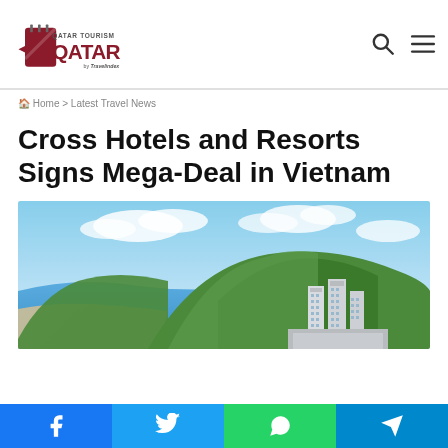Qatar Tourism — Qatar by Travelindex
Home > Latest Travel News
Cross Hotels and Resorts Signs Mega-Deal in Vietnam
[Figure (photo): Aerial view of a coastal resort area in Vietnam with green forested hills, a blue ocean coastline, and tall modern hotel towers in the foreground under a bright sky with clouds.]
Facebook | Twitter | WhatsApp | Telegram